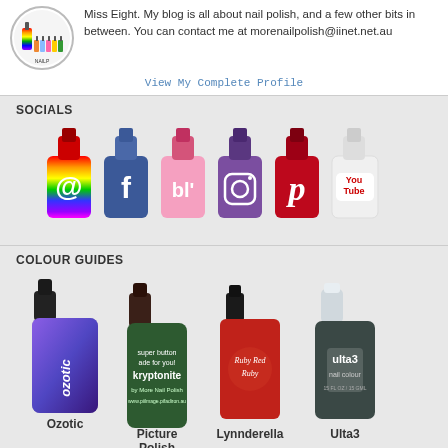Miss Eight. My blog is all about nail polish, and a few other bits in between. You can contact me at morenailpolish@iinet.net.au
View My Complete Profile
SOCIALS
[Figure (illustration): Six nail polish bottle shaped social media icons: email (@), Facebook (f), Bloglovin (bl'), Instagram (camera), Pinterest (p), YouTube (You Tube logo)]
COLOUR GUIDES
[Figure (illustration): Four nail polish bottles labeled Ozotic, Picture Polish, Lynnderella, Ulta3]